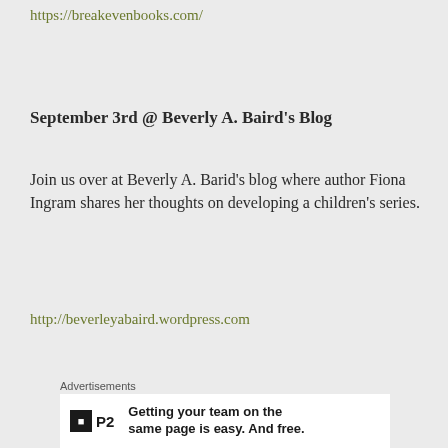https://breakevenbooks.com/
September 3rd @ Beverly A. Baird’s Blog
Join us over at Beverly A. Barid’s blog where author Fiona Ingram shares her thoughts on developing a children’s series.
http://beverleyabaird.wordpress.com
Advertisements
[Figure (other): Advertisement for P2: Getting your team on the same page is easy. And free.]